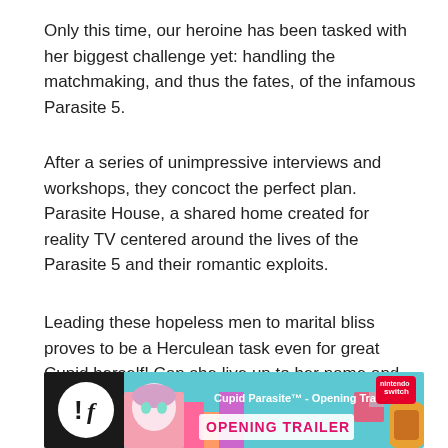Only this time, our heroine has been tasked with her biggest challenge yet: handling the matchmaking, and thus the fates, of the infamous Parasite 5.
After a series of unimpressive interviews and workshops, they concoct the perfect plan. Parasite House, a shared home created for reality TV centered around the lives of the Parasite 5 and their romantic exploits.
Leading these hopeless men to marital bliss proves to be a Herculean task even for great Cupid herself! Can she live up to her name and keep her identity secret at the same time?! Find out in the most divinely unpredictable romantic comedy of the millennium! ♥
[Figure (screenshot): Video thumbnail for 'Cupid Parasite™ - Opening Trailer ...' showing anime-style artwork with the text 'OPENING TRAILER' in pink/magenta, Nintendo Switch logo in top right, and the Funimation '!f' logo on the left.]